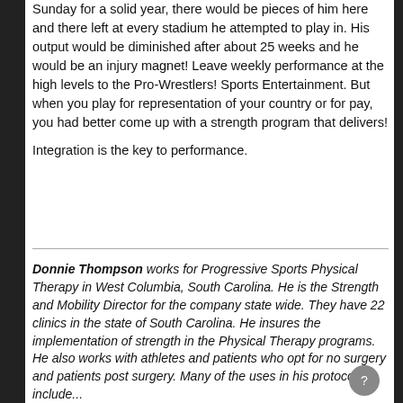Sunday for a solid year, there would be pieces of him here and there left at every stadium he attempted to play in. His output would be diminished after about 25 weeks and he would be an injury magnet! Leave weekly performance at the high levels to the Pro-Wrestlers! Sports Entertainment. But when you play for representation of your country or for pay, you had better come up with a strength program that delivers!

Integration is the key to performance.
Donnie Thompson works for Progressive Sports Physical Therapy in West Columbia, South Carolina. He is the Strength and Mobility Director for the company state wide. They have 22 clinics in the state of South Carolina. He insures the implementation of strength in the Physical Therapy programs. He also works with athletes and patients who opt for no surgery and patients post surgery. Many of the uses in his protocol include...